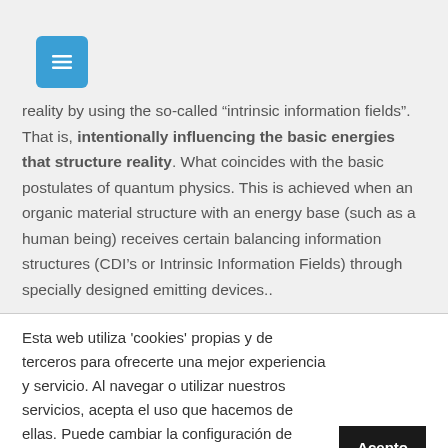[Figure (screenshot): Blue hamburger menu button icon in top left corner]
reality by using the so-called “intrinsic information fields”. That is, intentionally influencing the basic energies that structure reality. What coincides with the basic postulates of quantum physics. This is achieved when an organic material structure with an energy base (such as a human being) receives certain balancing information structures (CDI’s or Intrinsic Information Fields) through specially designed emitting devices..
Esta web utiliza 'cookies' propias y de terceros para ofrecerte una mejor experiencia y servicio. Al navegar o utilizar nuestros servicios, acepta el uso que hacemos de ellas. Puede cambiar la configuración de 'cookies' en cualquier momento. Acepto
+Info